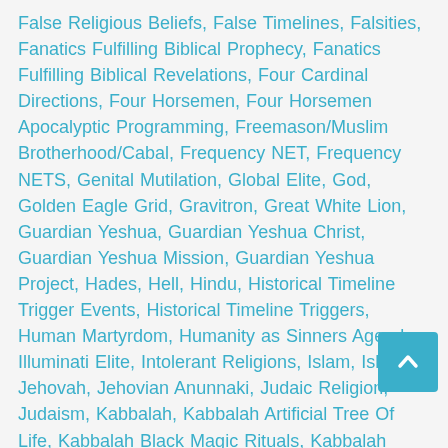False Religious Beliefs, False Timelines, Falsities, Fanatics Fulfilling Biblical Prophecy, Fanatics Fulfilling Biblical Revelations, Four Cardinal Directions, Four Horsemen, Four Horsemen Apocalyptic Programming, Freemason/Muslim Brotherhood/Cabal, Frequency NET, Frequency NETS, Genital Mutilation, Global Elite, God, Golden Eagle Grid, Gravitron, Great White Lion, Guardian Yeshua, Guardian Yeshua Christ, Guardian Yeshua Mission, Guardian Yeshua Project, Hades, Hell, Hindu, Historical Timeline Trigger Events, Historical Timeline Triggers, Human Martyrdom, Humanity as Sinners Agenda, Illuminati Elite, Intolerant Religions, Islam, Islamic, Jehovah, Jehovian Anunnaki, Judaic Religion, Judaism, Kabbalah, Kabbalah Artificial Tree Of Life, Kabbalah Black Magic Rituals, Kabbalah Black Tree of Life, Kabbalism, Kabbalist Chabad, Kabbalistic Demonology, Leviathan, Leviathan Race, Light Body, Lisa Renee, Luciferian Agenda, Luciferian Elite, Martyrdom, Mind Control, Mind Control Agenda, Mind Control Grids, Mind Control Implants, Mind Control Program, Mind Control Programming, Mind Control